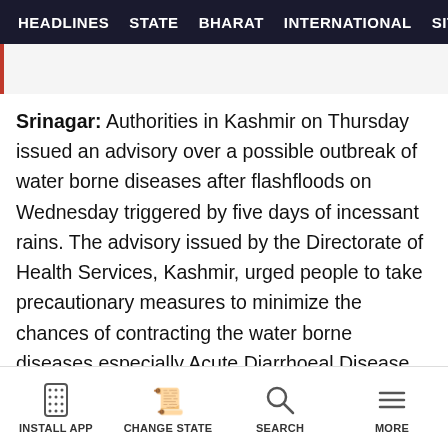HEADLINES  STATE  BHARAT  INTERNATIONAL  SITARA  GA...
Srinagar: Authorities in Kashmir on Thursday issued an advisory over a possible outbreak of water borne diseases after flashfloods on Wednesday triggered by five days of incessant rains. The advisory issued by the Directorate of Health Services, Kashmir, urged people to take precautionary measures to minimize the chances of contracting the water borne diseases especially Acute Diarrhoeal Disease (ADD).
INSTALL APP  CHANGE STATE  SEARCH  MORE